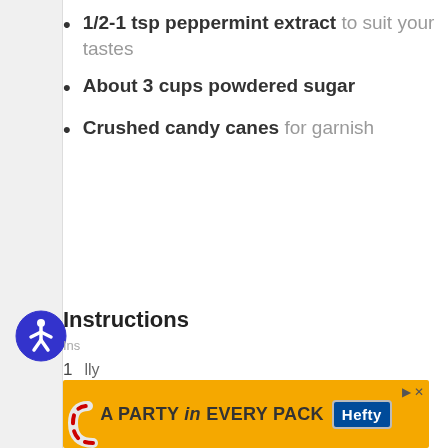1/2-1 tsp peppermint extract to suit your tastes
About 3 cups powdered sugar
Crushed candy canes for garnish
[Figure (logo): Accessibility icon — blue circle with white person figure]
Instructions
[Figure (other): Advertisement banner: A PARTY in EVERY PACK Hefty]